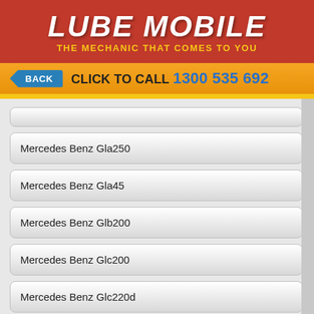[Figure (logo): Lube Mobile logo with red background, white bold italic text 'LUBE MOBILE' and yellow tagline 'THE MECHANIC THAT COMES TO YOU']
BACK   CLICK TO CALL 1300 535 692
Mercedes Benz Gla250
Mercedes Benz Gla45
Mercedes Benz Glb200
Mercedes Benz Glc200
Mercedes Benz Glc220d
Mercedes Benz Glc250
Mercedes Benz Glc250d
Mercedes Benz Glc300